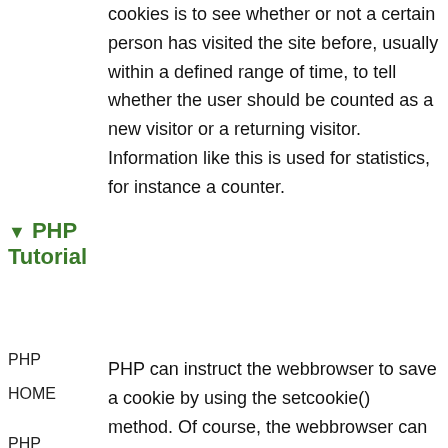information. A very common usage of cookies is to see whether or not a certain person has visited the site before, usually within a defined range of time, to tell whether the user should be counted as a new visitor or a returning visitor. Information like this is used for statistics, for instance a counter.
▼ PHP Tutorial
PHP
HOME
PHP Intro
PHP Install
PHP
PHP can instruct the webbrowser to save a cookie by using the setcookie() method. Of course, the webbrowser can fail to do so for several reasons, for instance because the user has said no to cookies, but most modern webbrowsers